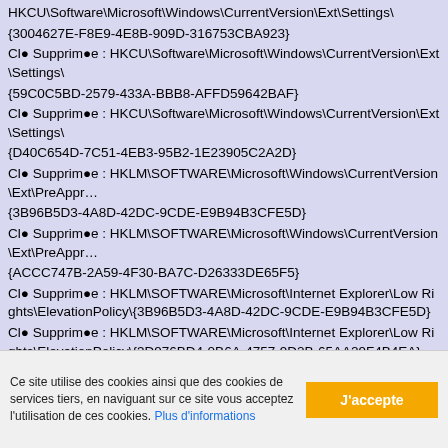HKCU\Software\Microsoft\Windows\CurrentVersion\Ext\Settings\{3004627E-F8E9-4E8B-909D-316753CBA923}
Clé Supprimée : HKCU\Software\Microsoft\Windows\CurrentVersion\Ext\Settings\{59C0C5BD-2579-433A-BBB8-AFFD59642BAF}
Clé Supprimée : HKCU\Software\Microsoft\Windows\CurrentVersion\Ext\Settings\{D40C654D-7C51-4EB3-95B2-1E23905C2A2D}
Clé Supprimée : HKLM\SOFTWARE\Microsoft\Windows\CurrentVersion\Ext\PreApproved\{3B96B5D3-4A8D-42DC-9CDE-E9B94B3CFE5D}
Clé Supprimée : HKLM\SOFTWARE\Microsoft\Windows\CurrentVersion\Ext\PreApproved\{ACCC747B-2A59-4F30-BA7C-D26333DE65F5}
Clé Supprimée : HKLM\SOFTWARE\Microsoft\Internet Explorer\Low Rights\ElevationPolicy\{3B96B5D3-4A8D-42DC-9CDE-E9B94B3CFE5D}
Clé Supprimée : HKLM\SOFTWARE\Microsoft\Internet Explorer\Low Rights\ElevationPolicy\{3D976BD4-0B6A-4757-9D2B-65AA29F4B4EA}
Ce site utilise des cookies ainsi que des cookies de services tiers, en naviguant sur ce site vous acceptez l'utilisation de ces cookies. Plus d'informations